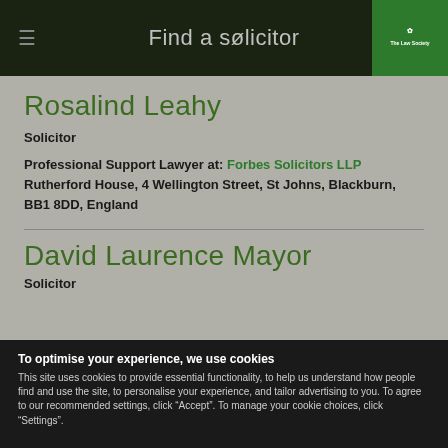Find a solicitor
Rosalind Leahy
Solicitor
Professional Support Lawyer at: Forbes Solicitors LLP
Rutherford House, 4 Wellington Street, St Johns, Blackburn, BB1 8DD, England
David Laurence Mayor
Solicitor
To optimise your experience, we use cookies
This site uses cookies to provide essential functionality, to help us understand how people find and use the site, to personalise your experience, and tailor advertising to you. To agree to our recommended settings, click “Accept”. To manage your cookie choices, click “Settings”.